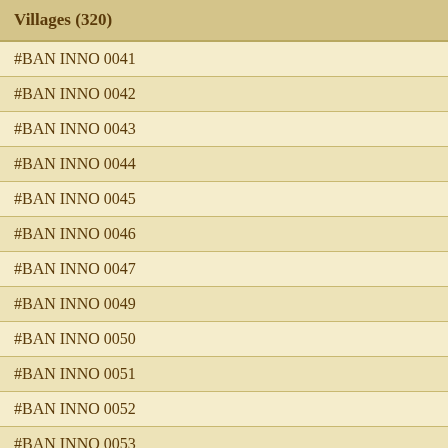| Villages (320) | Coordinates | Points |
| --- | --- | --- |
| #BAN INNO 0041 | 483|519 | 10.861 |
| #BAN INNO 0042 | 483|517 | 10.812 |
| #BAN INNO 0043 | 482|519 | 10.134 |
| #BAN INNO 0044 | 482|521 | 12.128 |
| #BAN INNO 0045 | 486|521 | 11.295 |
| #BAN INNO 0046 | 483|521 | 11.295 |
| #BAN INNO 0047 | 478|521 | 10.144 |
| #BAN INNO 0049 | 480|533 | 10.160 |
| #BAN INNO 0050 | 486|524 | 10.205 |
| #BAN INNO 0051 | 483|529 | 10.143 |
| #BAN INNO 0052 | 484|533 | 10.160 |
| #BAN INNO 0053 | 481|532 | 10.252 |
| #BAN INNO 0054 | 481|529 | 10.146 |
| #BAN INNO 0055 | 482|533 | 10.160 |
| #BAN INNO 0056 | 482|532 | 10.160 |
| #BAN INNO 0057 | 482|530 | 10.152 |
| #BAN INNO 0058 | 481|531 | 10.160 |
| #BAN INNO 0059 | 481|533 | 10.160 |
1x Att
Defeat
Best re
Years
Play T
World 129
World 108